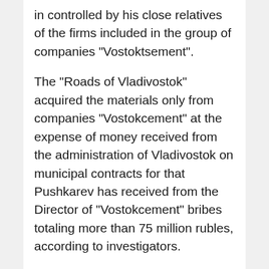in controlled by his close relatives of the firms included in the group of companies “Vostoktsement”.
The “Roads of Vladivostok” acquired the materials only from companies “Vostokcement” at the expense of money received from the administration of Vladivostok on municipal contracts for that Pushkarev has received from the Director of “Vostokcement” bribes totaling more than 75 million rubles, according to investigators.
In addition, recently, the Investigative Committee has established the involvement Pushkareva to commit another crimes —